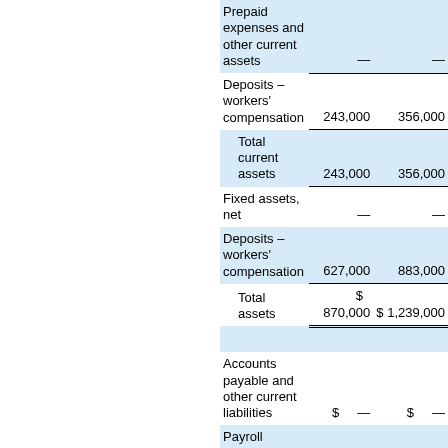|  | Col1 | Col2 |
| --- | --- | --- |
| Prepaid expenses and other current assets | — | — |
| Deposits – workers' compensation | 243,000 | 356,000 |
| Total current assets | 243,000 | 356,000 |
| Fixed assets, net | — | — |
| Deposits – workers' compensation | 627,000 | 883,000 |
| Total assets | $ 870,000 | $ 1,239,000 |
| (spacer) |  |  |
| Accounts payable and other current liabilities | $ — | $ — |
| Payroll related liabilities | — | — |
| Accrued workers' compensation cost | 1,414,000 | 1,516,000 |
| Total current (partial) |  |  |